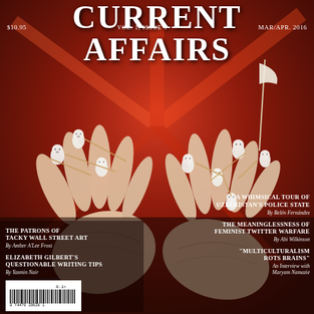CURRENT AFFAIRS
$10.95   VOL. 1, ISSUE 1   MAR/APR. 2016
[Figure (illustration): Surrealist painting of two large cupped hands holding small ghost-like figures wielding swords and a flag, on a fiery red background]
THE PATRONS OF TACKY WALL STREET ART
By Amber A'Lee Frost
ELIZABETH GILBERT'S QUESTIONABLE WRITING TIPS
By Yasmin Nair
A WHIMSICAL TOUR OF UZBEKISTAN'S POLICE STATE
By Belén Fernández
THE MEANINGLESSNESS OF FEMINIST TWITTER WARFARE
By Abi Wilkinson
"MULTICULTURALISM ROTS BRAINS"
An Interview with Maryam Namazie
[Figure (other): Barcode: 8 74470 29628 1, with 0.1> price code]